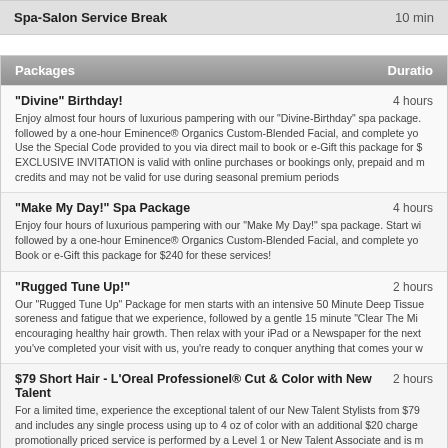| Spa-Salon Service Break | 10 min |
| --- | --- |
Packages | Duration
"Divine" Birthday!
Enjoy almost four hours of luxurious pampering with our “Divine-Birthday” spa package. followed by a one-hour Eminence® Organics Custom-Blended Facial, and complete yo… Use the Special Code provided to you via direct mail to book or e-Gift this package for $… EXCLUSIVE INVITATION is valid with online purchases or bookings only, prepaid and m… credits and may not be valid for use during seasonal premium periods
"Make My Day!" Spa Package
Enjoy four hours of luxurious pampering with our “Make My Day!” spa package. Start wi… followed by a one-hour Eminence® Organics Custom-Blended Facial, and complete yo… Book or e-Gift this package for $240 for these services!
"Rugged Tune Up!"
Our “Rugged Tune Up” Package for men starts with an intensive 50 Minute Deep Tissue… soreness and fatigue that we experience, followed by a gentle 15 minute “Clear The Mi… encouraging healthy hair growth. Then relax with your iPad or a Newspaper for the next… you’ve completed your visit with us, you’re ready to conquer anything that comes your w…
$79 Short Hair - L’Oreal Professionel® Cut & Color with New Talent
For a limited time, experience the exceptional talent of our New Talent Stylists from $79… and includes any single process using up to 4 oz of color with an additional $20 charge… promotionally priced service is performed by a Level 1 or New Talent Associate and is m… select the Service Provider that performs your service. This offer is valid for a limited tim… valid for use with any other special offers, promotions, discounted prepaid gift-cards or…